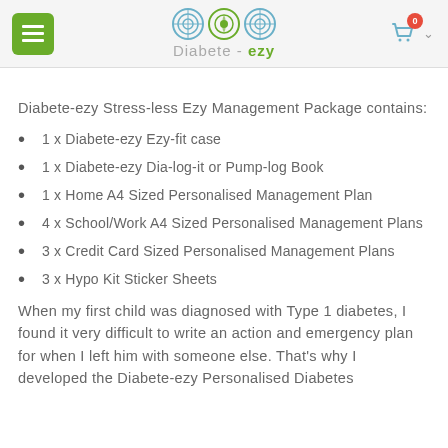Diabete-ezy [logo header with menu and cart]
Diabete-ezy Stress-less Ezy Management Package contains:
1 x Diabete-ezy Ezy-fit case
1 x Diabete-ezy Dia-log-it or Pump-log Book
1 x Home A4 Sized Personalised Management Plan
4 x School/Work A4 Sized Personalised Management Plans
3 x Credit Card Sized Personalised Management Plans
3 x Hypo Kit Sticker Sheets
When my first child was diagnosed with Type 1 diabetes, I found it very difficult to write an action and emergency plan for when I left him with someone else. That’s why I developed the Diabete-ezy Personalised Diabetes